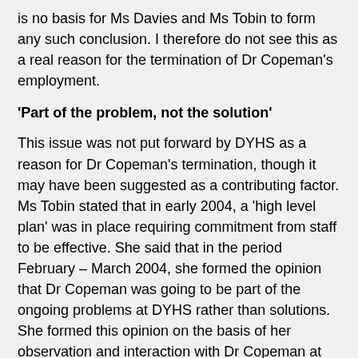is no basis for Ms Davies and Ms Tobin to form any such conclusion. I therefore do not see this as a real reason for the termination of Dr Copeman's employment.
'Part of the problem, not the solution'
This issue was not put forward by DYHS as a reason for Dr Copeman's termination, though it may have been suggested as a contributing factor. Ms Tobin stated that in early 2004, a 'high level plan' was in place requiring commitment from staff to be effective. She said that in the period February – March 2004, she formed the opinion that Dr Copeman was going to be part of the ongoing problems at DYHS rather than solutions. She formed this opinion on the basis of her observation and interaction with Dr Copeman at several meetings that she attended with Dr Copeman and with the CEO. At those meetings, she said, she did not like Dr Copeman's 'tone and attitude' towards Ms Tobin and Ms Davies (as displayed in her own observations) (Ms Tobin)